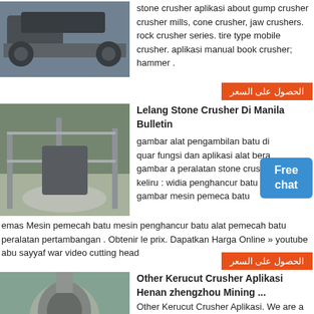[Figure (photo): Industrial stone crusher machinery on factory floor]
stone crusher aplikasi about gump crusher crusher mills, cone crusher, jaw crushers. rock crusher series. tire type mobile crusher. aplikasi manual book crusher; hammer .
الحصول على السعر
[Figure (photo): Large industrial stone crusher in factory with crushed stones on floor]
Lelang Stone Crusher Di Manila Bulletin
gambar alat pengambilan batu di quar fungsi dan aplikasi alat bera gambar a peralatan stone crusher keliru : widia penghancur batu gambar mesin pemeca batu emas Mesin pemecah batu mesin penghancur batu alat pemecah batu peralatan pertambangan . Obtenir le prix. Dapatkan Harga Online » youtube abu sayyaf war video cutting head
Free chat
الحصول على السعر
[Figure (photo): Cone crusher machine in industrial setting]
Other Kerucut Crusher Aplikasi Henan zhengzhou Mining ...
Other Kerucut Crusher Aplikasi. We are a largescale manufacturer specializing in producing various mining machines including